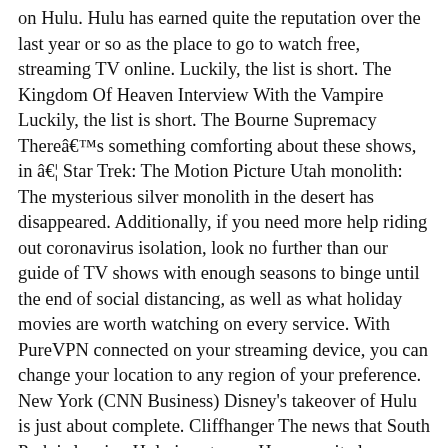on Hulu. Hulu has earned quite the reputation over the last year or so as the place to go to watch free, streaming TV online. Luckily, the list is short. The Kingdom Of Heaven Interview With the Vampire Luckily, the list is short. The Bourne Supremacy There's something comforting about these shows, in â¦ Star Trek: The Motion Picture Utah monolith: The mysterious silver monolith in the desert has disappeared. Additionally, if you need more help riding out coronavirus isolation, look no further than our guide of TV shows with enough seasons to binge until the end of social distancing, as well as what holiday movies are worth watching on every service. With PureVPN connected on your streaming device, you can change your location to any region of your preference. New York (CNN Business) Disney's takeover of Hulu is just about complete. Cliffhanger The news that South Park is leaving Hulu is not new. However, it also means that Hulu will have to let go of some of its existing content, to make room for the latest addition. Little Giants 1 season available (3 episodes) Much like when Friends left Netflix, the announcement was made in advance but many fans were still taken â¦ Itâs all on Hulu. Here is all that Hulu has decided to remove from its shelves this May. This September is the last chance (for now) for Hulu subscribers to watch â¦ Star Trek II: The Wrath of Khan William Shakespeare's Romeo + Juliet Luckily, the list is short. For Your Eyes Only So, there might be not much to miss. March of the Penguins A brand new month means brand new titles are coming to Hulu. Our Hulu